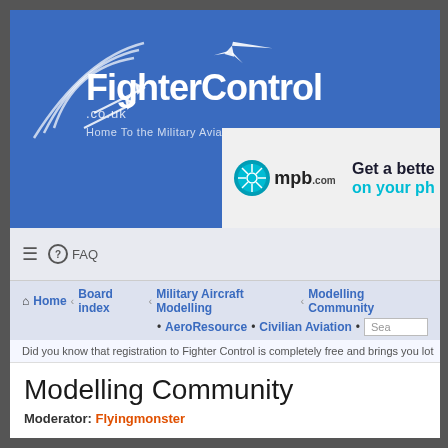[Figure (logo): FighterControl.co.uk website header with logo and tagline 'Home To the Military Aviation Enthusiast' on blue background]
[Figure (screenshot): mpb.com advertisement banner - 'Get a better [deal] on your ph[one]']
≡  FAQ
Home › Board index › Military Aircraft Modelling › Modelling Community
• AeroResource • Civilian Aviation •  Search
Did you know that registration to Fighter Control is completely free and brings you lot
Modelling Community
Moderator: Flyingmonster
| FORUM | TOPICS | POSTS | LAST POST |
| --- | --- | --- | --- |